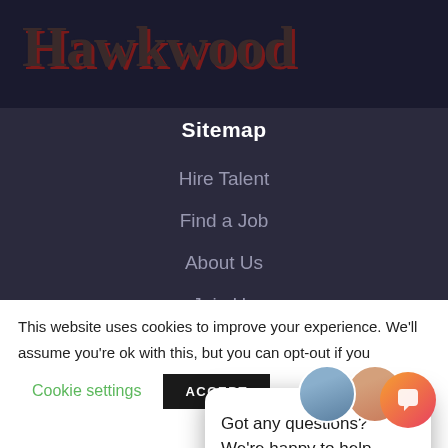Hawkwood
Sitemap
Hire Talent
Find a Job
About Us
Join Us
Consultancy
[Figure (screenshot): Chat popup widget with two person avatars and text: Got any questions? We're happy to help.]
This website uses cookies to improve your experience. We'll assume you're ok with this, but you can opt-out if you
Cookie settings
ACCEPT